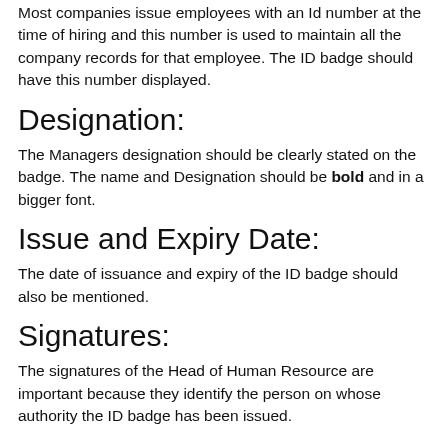Most companies issue employees with an Id number at the time of hiring and this number is used to maintain all the company records for that employee. The ID badge should have this number displayed.
Designation:
The Managers designation should be clearly stated on the badge. The name and Designation should be bold and in a bigger font.
Issue and Expiry Date:
The date of issuance and expiry of the ID badge should also be mentioned.
Signatures:
The signatures of the Head of Human Resource are important because they identify the person on whose authority the ID badge has been issued.